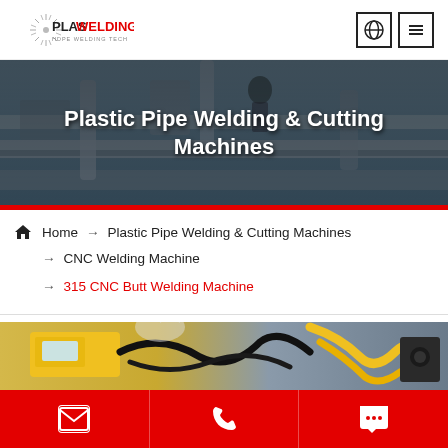PLASWELDING - HDPE WELDING TECH
[Figure (screenshot): Hero banner showing plastic pipes and industrial welding scene with text: Plastic Pipe Welding & Cutting Machines]
Plastic Pipe Welding & Cutting Machines
Home → Plastic Pipe Welding & Cutting Machines
→ CNC Welding Machine
→ 315 CNC Butt Welding Machine
[Figure (photo): Product photo showing yellow CNC butt welding machine with black cables and yellow hoses]
Contact icons: email, phone, chat